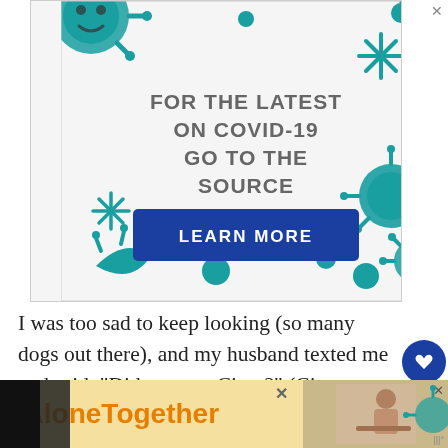[Figure (infographic): COVID-19 advertisement banner with illustrated teal virus/coronavirus graphics on a light grey background. Text reads 'FOR THE LATEST ON COVID-19 GO TO THE SOURCE' with a dark blue 'LEARN MORE' button. Teal virus illustrations and snowflake-like shapes surround the text.]
I was too sad to keep looking (so many dogs out there), and my husband texted me and said, “Did you see Cissy?” (Cissy was Kira’s name before we changed it). I took a look,
[Figure (infographic): #AloneTogether advertisement strip at the bottom. Orange/amber hashtag text on light yellow background with a photo of a woman and virus graphics.]